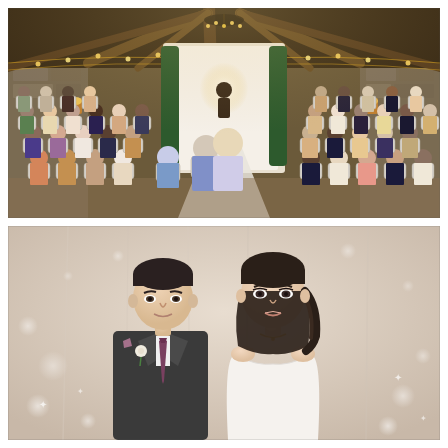[Figure (photo): Indoor wedding ceremony in a rustic barn venue with exposed wooden beams and fairy lights. Guests are seated in white Chiavari chairs on both sides of a white aisle runner. The officiant and couple stand at the far end near a floral arch. Stone walls and string lights create a warm atmosphere.]
[Figure (photo): Portrait of a bride and groom posed in front of a white draped backdrop with soft bokeh sparkle effects. The groom wears a dark suit with a purple tie and a white boutonniere. The bride wears a white strapless dress with a necklace and has dark hair styled half-up.]